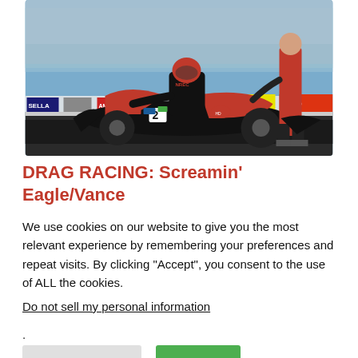[Figure (photo): A drag racing motorcycle (number 2, black and orange, Screamin' Eagle livery) on a track with a large crowd in the stands. A crew member in a red shirt stands nearby. Sponsor banners visible including OIL and GATO. The rider is in a black leather racing suit with an orange helmet.]
DRAG RACING: Screamin' Eagle/Vance And Hines' Eddie Krawiec Wins
We use cookies on our website to give you the most relevant experience by remembering your preferences and repeat visits. By clicking “Accept”, you consent to the use of ALL the cookies.
Do not sell my personal information.
Cookie Settings  Accept